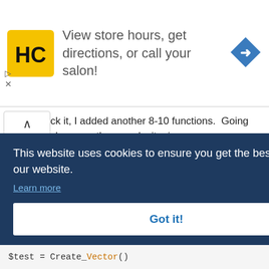[Figure (screenshot): Advertisement banner with HC logo, text 'View store hours, get directions, or call your salon!' and a blue direction arrow icon]
ck it, I added another 8-10 functions.  Going slower as the complexity rises.
I added in a _Vector_For_Each_Transform() function and i figured i would add an example as to how something like this works for those unfamiliar.
to
could
t using
d
pening
[Figure (screenshot): Cookie consent banner with dark blue background: 'This website uses cookies to ensure you get the best experience on our website.' with 'Learn more' link and 'Got it!' button]
e
$test = Create_Vector()